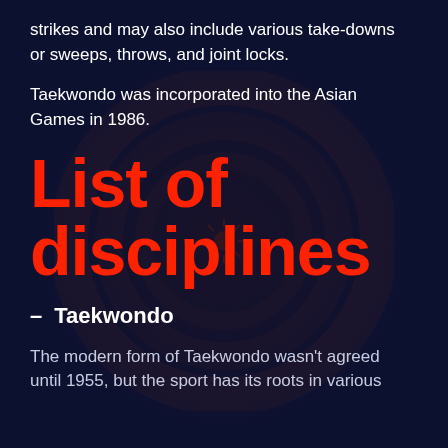strikes and may also include various take-downs or sweeps, throws, and joint locks.
Taekwondo was incorporated into the Asian Games in 1986.
List of disciplines
– Taekwondo
The modern form of Taekwondo wasn't agreed until 1955, but the sport has its roots in various